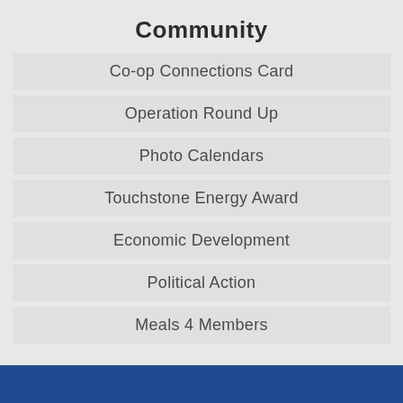Community
Co-op Connections Card
Operation Round Up
Photo Calendars
Touchstone Energy Award
Economic Development
Political Action
Meals 4 Members